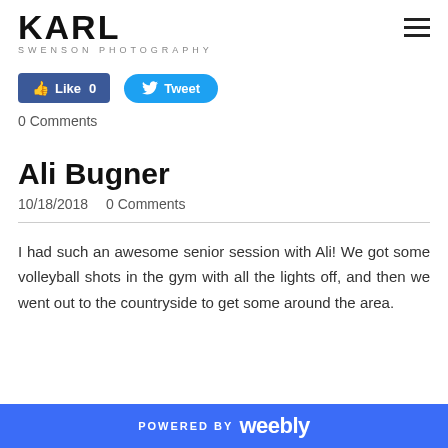KARL SWENSON PHOTOGRAPHY
[Figure (screenshot): Facebook Like button (blue, rounded rectangle) showing count 0, and Twitter Tweet button (blue, pill-shaped)]
0 Comments
Ali Bugner
10/18/2018   0 Comments
I had such an awesome senior session with Ali! We got some volleyball shots in the gym with all the lights off, and then we went out to the countryside to get some around the area.
POWERED BY weebly